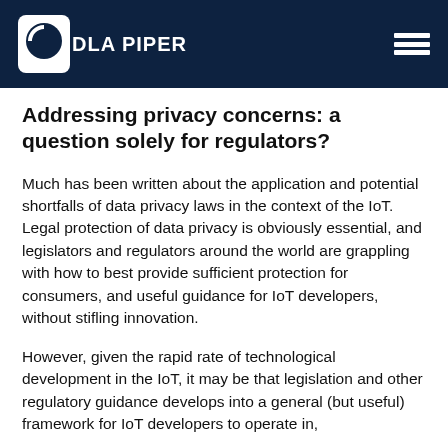DLA PIPER
Addressing privacy concerns: a question solely for regulators?
Much has been written about the application and potential shortfalls of data privacy laws in the context of the IoT. Legal protection of data privacy is obviously essential, and legislators and regulators around the world are grappling with how to best provide sufficient protection for consumers, and useful guidance for IoT developers, without stifling innovation.
However, given the rapid rate of technological development in the IoT, it may be that legislation and other regulatory guidance develops into a general (but useful) framework for IoT developers to operate in,